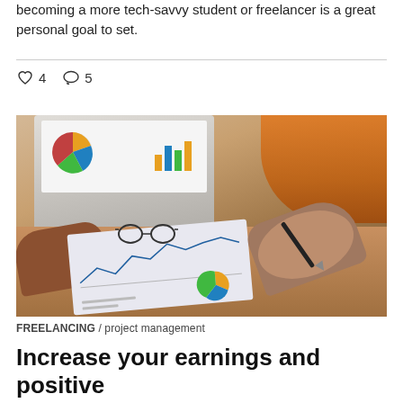becoming a more tech-savvy student or freelancer is a great personal goal to set.
♡ 4   ○ 5
[Figure (photo): People sitting around a table with a laptop showing charts, papers with graphs, glasses, and a pen. One person in orange sleeve is pointing, another hand holds a pen over documents.]
FREELANCING / project management
Increase your earnings and positive